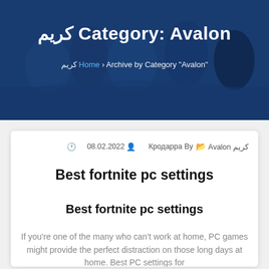[Figure (photo): Hero banner with blue overlay showing people working together around a table with laptops]
Category: Avalon كريم
كريم Home › Archive by Category "Avalon"
Avalon كريم  Кродарра By  08.02.2022
Best fortnite pc settings
Best fortnite pc settings
If you're one of the many who can't work at home, PC games might provide the perfect distraction on those long days at home. Best PC settings for